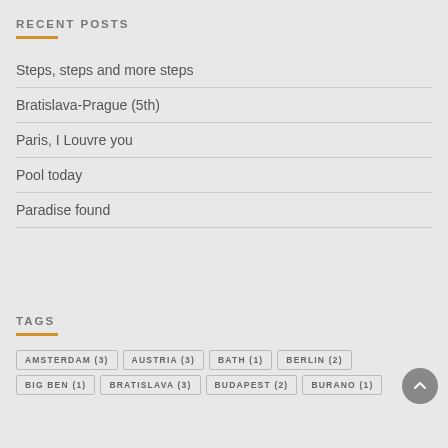RECENT POSTS
Steps, steps and more steps
Bratislava-Prague (5th)
Paris, I Louvre you
Pool today
Paradise found
TAGS
AMSTERDAM (3)
AUSTRIA (3)
BATH (1)
BERLIN (2)
BIG BEN (1)
BRATISLAVA (3)
BUDAPEST (2)
BURANO (1)